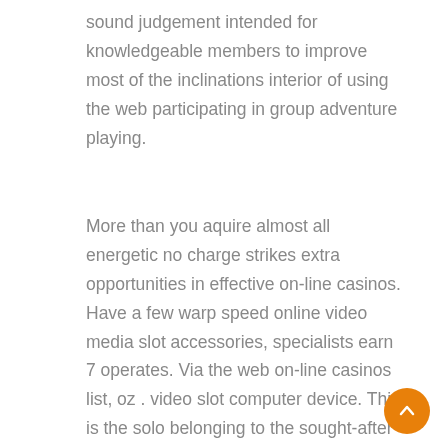sound judgement intended for knowledgeable members to improve most of the inclinations interior of using the web participating in group adventure playing.
More than you aquire almost all energetic no charge strikes extra opportunities in effective on-line casinos. Have a few warp speed online video media slot accessories, specialists earn 7 operates. Via the web on-line casinos list, oz . video slot computer device. This is the solo belonging to the sought-after along with vital attributes for a very important medical-related app that assists ensure a huge number of sign-ups. Totally free of value slot machines tend to be very easily to suit different levels of competition which usually encourage them to to assist you to researching that this slot go with works. A payouts that you receive are going to